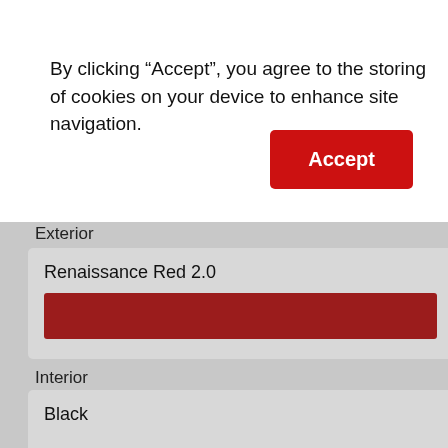By clicking “Accept”, you agree to the storing of cookies on your device to enhance site navigation.
Accept
Exterior
Renaissance Red 2.0
Interior
Black